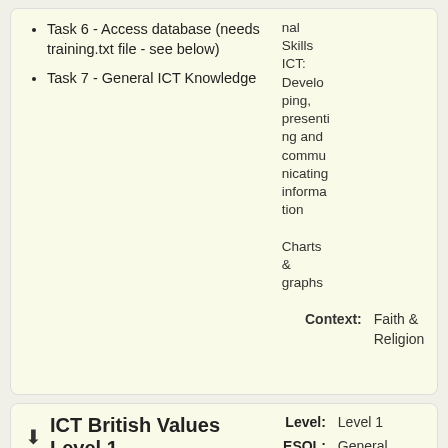Task 6 - Access database (needs training.txt file - see below)
Task 7 - General ICT Knowledge
nal Skills ICT: Developing, presenting and communicating information
Charts & graphs
Context: Faith & Religion
[Figure (logo): Download icon]
ICT British Values Level 1
Level: Level 1
ESOL: General
[Figure (screenshot): Thumbnail images of ICT British Values Level 1 resource]